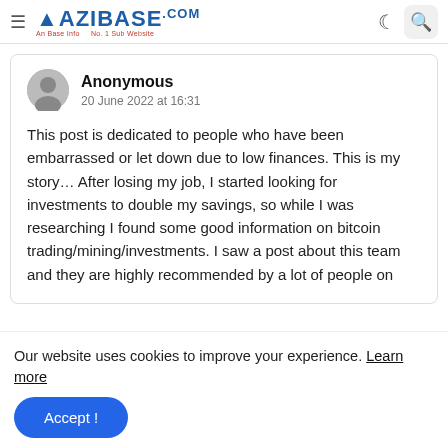≡ AZIBASE.COM
Anonymous
20 June 2022 at 16:31

This post is dedicated to people who have been embarrassed or let down due to low finances. This is my story… After losing my job, I started looking for investments to double my savings, so while I was researching I found some good information on bitcoin trading/mining/investments. I saw a post about this team and they are highly recommended by a lot of people on different bitcoin forums and blogs so i was
Our website uses cookies to improve your experience. Learn more
Accept !